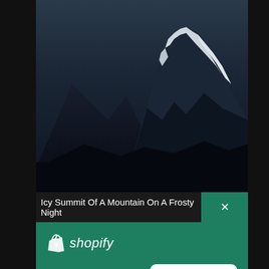[Figure (photo): Dark moody photo of an icy mountain summit at night with snow-covered peaks against a dark stormy sky]
Icy Summit Of A Mountain On A Frosty Night
[Figure (logo): Shopify logo with shopping bag icon and italic 'shopify' text in white on green background]
Need an online store for your business?
Start free trial